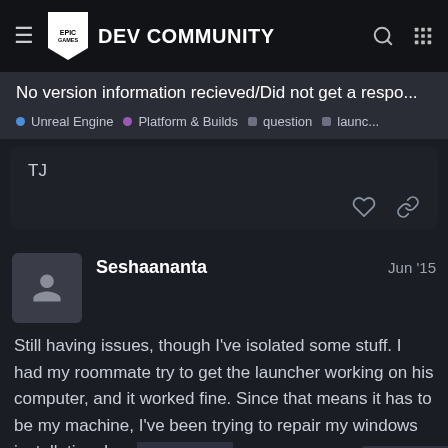EPIC GAMES DEV COMMUNITY
No version information recieved/Did not get a respo...
Unreal Engine · Platform & Builds · question · launc...
TJ
Seshaananta  Jun '15
Still having issues, though I've isolated some stuff. I had my roommate try to get the launcher working on his computer, and it worked fine. Since that means it has to be my machine, I've been trying to repair my windows installation. I may end up just reformatting and seeing if that fixe
8 / 9